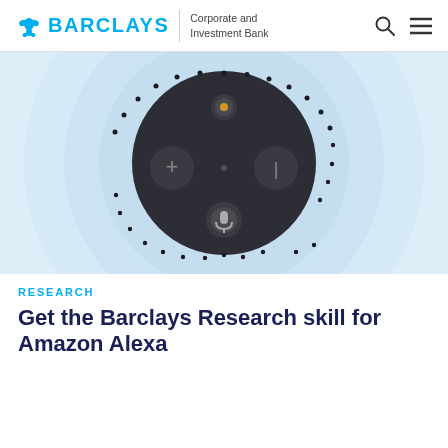BARCLAYS Corporate and Investment Bank
[Figure (photo): Amazon Echo Dot (top-down view) in dark grey with circular controls and microphone button, centered on a light blue background with concentric circular rings suggesting sound waves]
RESEARCH
Get the Barclays Research skill for Amazon Alexa